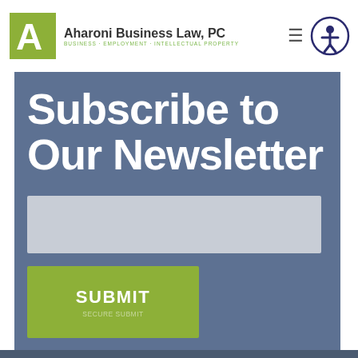Aharoni Business Law, PC — BUSINESS · EMPLOYMENT · INTELLECTUAL PROPERTY
Subscribe to Our Newsletter
[Figure (screenshot): Email input text field (light grey rectangle) for newsletter subscription]
[Figure (screenshot): Green SUBMIT button for newsletter subscription form]